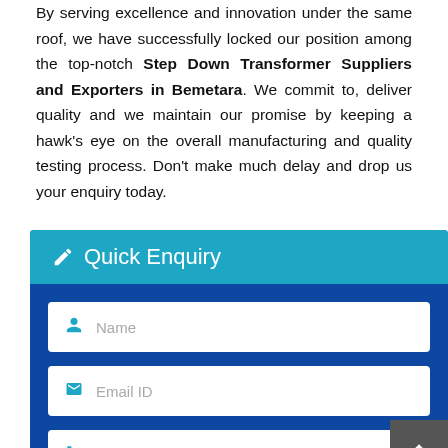By serving excellence and innovation under the same roof, we have successfully locked our position among the top-notch Step Down Transformer Suppliers and Exporters in Bemetara. We commit to, deliver quality and we maintain our promise by keeping a hawk's eye on the overall manufacturing and quality testing process. Don't make much delay and drop us your enquiry today.
Quick Enquiry
Name
Email ID
Contact No.